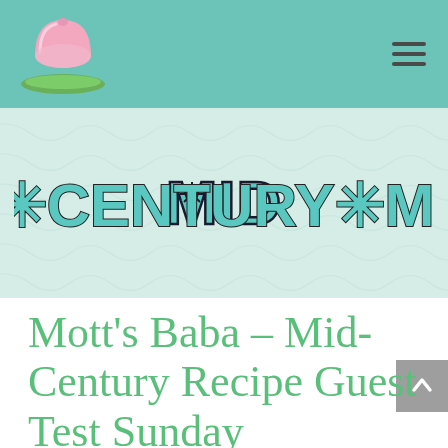[Figure (logo): Pink jello mold dessert on green plate logo illustration]
[Figure (illustration): Hamburger/menu icon with three horizontal lines]
[Figure (illustration): Mid-Century Menu banner logo text in teal/dark retro lettering with starburst asterisk decorations on light mint decorative background]
Mott’s Baba – Mid-Century Recipe Guest Test Sunday
by Erica | Jan 12, 2014 | Cake & Cupcakes, Guest